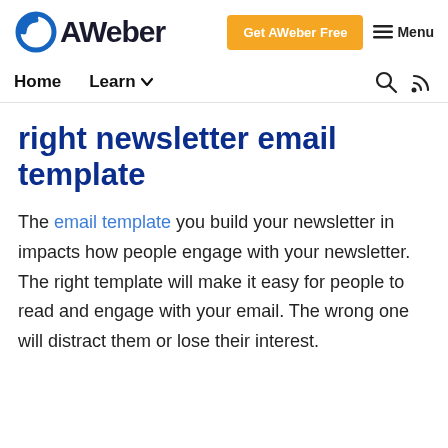AWeber — Get AWeber Free | Menu
Home  Learn
right newsletter email template
The email template you build your newsletter in impacts how people engage with your newsletter. The right template will make it easy for people to read and engage with your email. The wrong one will distract them or lose their interest.